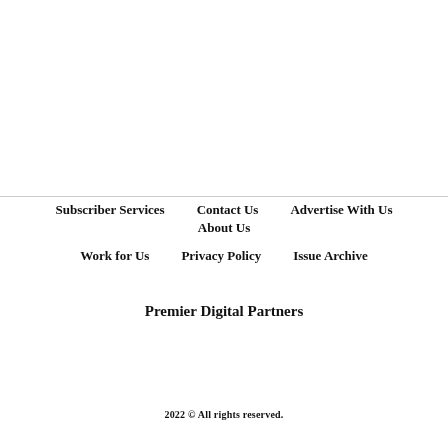Subscriber Services    Contact Us    Advertise With Us    About Us    Work for Us    Privacy Policy    Issue Archive
Premier Digital Partners
2022 © All rights reserved.